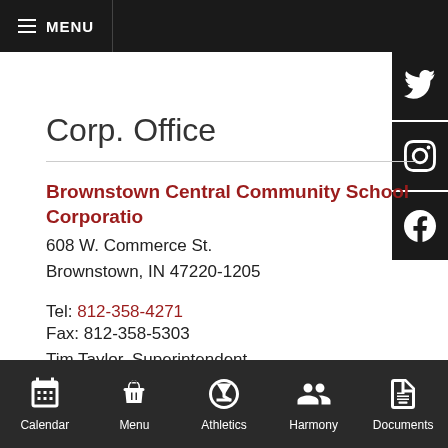MENU
Corp. Office
Brownstown Central Community School Corporation
608 W. Commerce St.
Brownstown, IN 47220-1205
Tel: 812-358-4271
Fax: 812-358-5303
Tim Taylor, Superintendent
Calendar | Menu | Athletics | Harmony | Documents